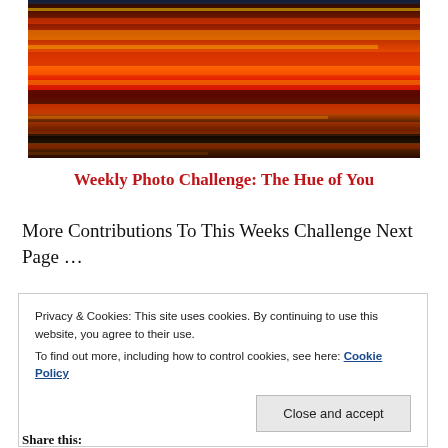[Figure (photo): Abstract horizontal streaks of red, orange, yellow, gold, and black creating a flame-like or aurora-like texture pattern.]
Weekly Photo Challenge: The Hue of You
More Contributions To This Weeks Challenge Next Page ...
Privacy & Cookies: This site uses cookies. By continuing to use this website, you agree to their use.
To find out more, including how to control cookies, see here: Cookie Policy
Close and accept
Share this: